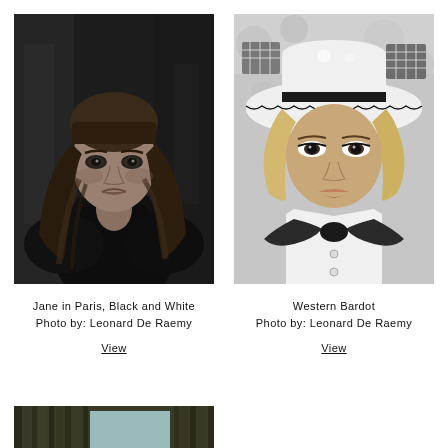[Figure (photo): Black and white portrait photo of Jane Birkin in Paris, looking at camera with long hair]
Jane in Paris, Black and White
Photo by: Leonard De Raemy
View
[Figure (photo): Black and white photo of Brigitte Bardot wearing a white hat with decorative trim and a bow tie, Western style]
Western Bardot
Photo by: Leonard De Raemy
View
[Figure (photo): Partial view of a third photograph at the bottom left, showing a forest or outdoor scene]